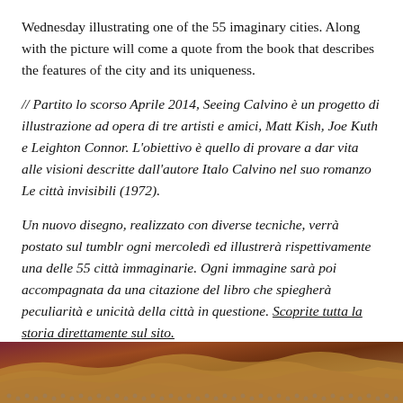Wednesday illustrating one of the 55 imaginary cities. Along with the picture will come a quote from the book that describes the features of the city and its uniqueness.
// Partito lo scorso Aprile 2014, Seeing Calvino è un progetto di illustrazione ad opera di tre artisti e amici, Matt Kish, Joe Kuth e Leighton Connor. L'obiettivo è quello di provare a dar vita alle visioni descritte dall'autore Italo Calvino nel suo romanzo Le città invisibili (1972).
Un nuovo disegno, realizzato con diverse tecniche, verrà postato sul tumblr ogni mercoledì ed illustrerà rispettivamente una delle 55 città immaginarie. Ogni immagine sarà poi accompagnata da una citazione del libro che spiegherà peculiarità e unicità della città in questione. Scoprite tutta la storia direttamente sul sito.
All pictures © Seeing Calvino. Discover the whole story directly clicking here.
[Figure (photo): Bottom portion of an artistic illustration with layered wave-like patterns in dark reds, browns, golds, and purples with a textured, ornate appearance.]